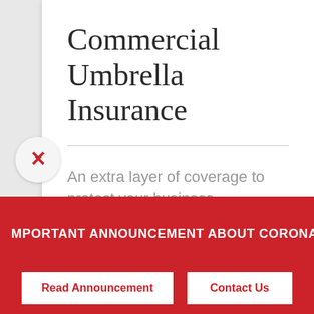Commercial Umbrella Insurance
An extra layer of coverage to protect your business.
IMPORTANT ANNOUNCEMENT ABOUT CORONAVIRUS (C
Read Announcement
Contact Us